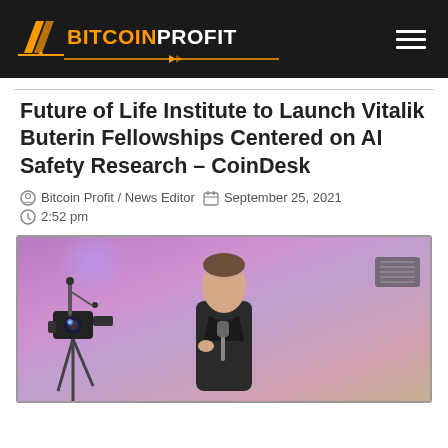Bitcoin Profit
Future of Life Institute to Launch Vitalik Buterin Fellowships Centered on AI Safety Research – CoinDesk
Bitcoin Profit / News Editor   September 25, 2021
2:52 pm
[Figure (photo): Person speaking on stage with microphone and camera equipment, purple/pink lit background]